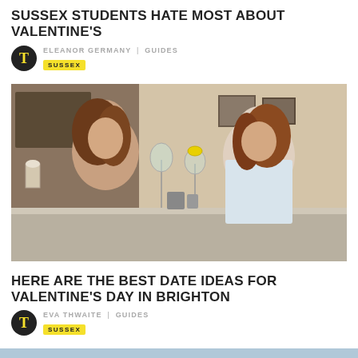SUSSEX STUDENTS HATE MOST ABOUT VALENTINE'S
ELEANOR GERMANY | GUIDES
SUSSEX
[Figure (photo): Two young women clinking wine glasses at a kitchen counter, smiling at camera. Indoor setting with kitchen background.]
HERE ARE THE BEST DATE IDEAS FOR VALENTINE'S DAY IN BRIGHTON
EVA THWAITE | GUIDES
SUSSEX